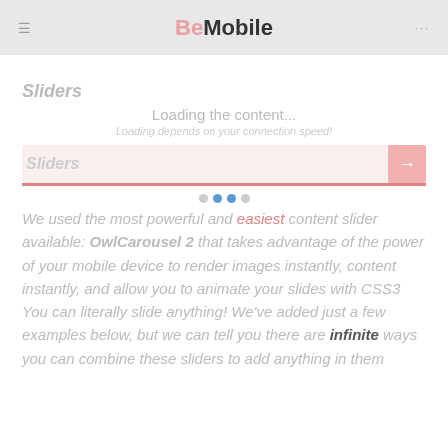BeMobile
Sliders
Loading the content...
Loading depends on your connection speed!
Sliders
We used the most powerful and easiest content slider available: OwlCarousel 2 that takes advantage of the power of your mobile device to render images instantly, content instantly, and allow you to animate your slides with CSS3 You can literally slide anything! We've added just a few examples below, but we can tell you there are infinite ways you can combine these sliders to add anything in them